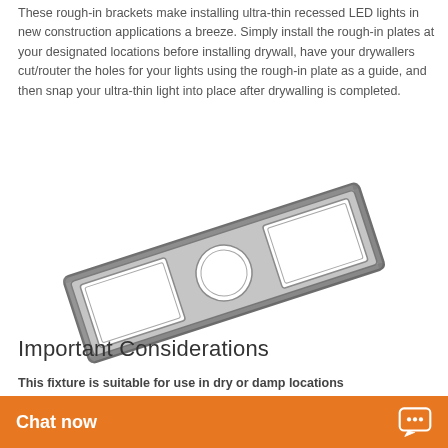These rough-in brackets make installing ultra-thin recessed LED lights in new construction applications a breeze. Simply install the rough-in plates at your designated locations before installing drywall, have your drywallers cut/router the holes for your lights using the rough-in plate as a guide, and then snap your ultra-thin light into place after drywalling is completed.
[Figure (illustration): A rough-in bracket plate shown at an angle — a rectangular metal frame with two rectangular cutouts on each side and a circular hole in the center, rendered in dark gray/charcoal with subtle shading. A faint watermark text is visible in the background.]
Important Considerations
This fixture is suitable for use in dry or damp locations
When using this fix... installed in a ceiling...